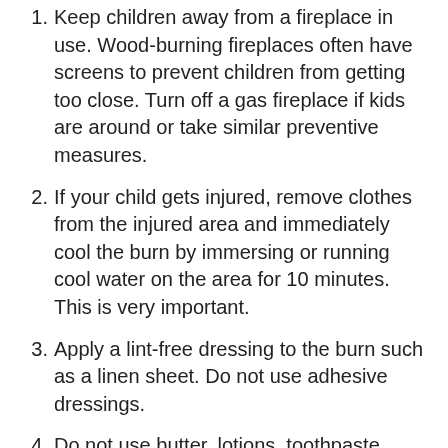Keep children away from a fireplace in use. Wood-burning fireplaces often have screens to prevent children from getting too close. Turn off a gas fireplace if kids are around or take similar preventive measures.
If your child gets injured, remove clothes from the injured area and immediately cool the burn by immersing or running cool water on the area for 10 minutes. This is very important.
Apply a lint-free dressing to the burn such as a linen sheet. Do not use adhesive dressings.
Do not use butter, lotions, toothpaste, ointments or other home remedies to treat the burn.
Keep your child warm as you wait for emergency help, or make your way to